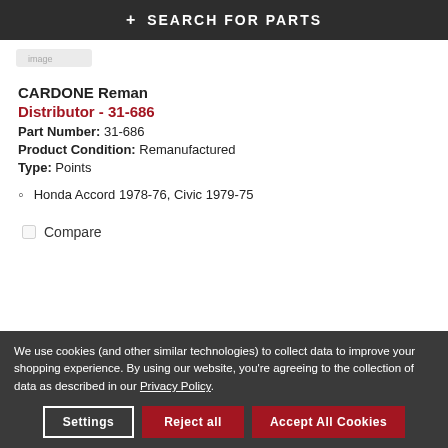+ SEARCH FOR PARTS
[Figure (photo): Partial product image (distributor part), partially visible at top of page]
CARDONE Reman
Distributor - 31-686
Part Number: 31-686
Product Condition: Remanufactured
Type: Points
Honda Accord 1978-76, Civic 1979-75
Compare
We use cookies (and other similar technologies) to collect data to improve your shopping experience. By using our website, you're agreeing to the collection of data as described in our Privacy Policy.